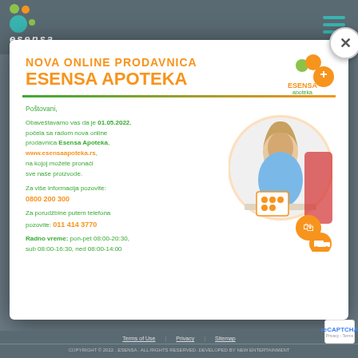esensa
[Figure (screenshot): Popup modal advertisement for Esensa Apoteka online store. Contains orange heading 'NOVA ONLINE PRODAVNICA ESENSA APOTEKA', green body text in Serbian announcing the opening of the online store on 01.05.2022, phone numbers 0800 200 300 and 011 414 3770, working hours, and a circular photo of a woman shopping online.]
Poštovani,
Obaveštavamo vas da je 01.05.2022. počela sa radom nova online prodavnica Esensa Apoteka, www.esensaapoteka.rs, na kojoj možete pronaći sve naše proizvode.
Za više informacija pozovite: 0800 200 300
Za porudžbine putem telefona pozovite: 011 414 3770
Radno vreme: pon-pet 08:00-20:30, sub 08:00-16:30, ned 08:00-14:00
COPYRIGHT © 2022 . ESENSA . ALL RIGHTS RESERVED. DEVELOPED BY NEW ENTERTAINMENT